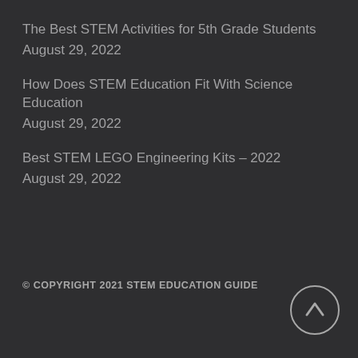The Best STEM Activities for 5th Grade Students
August 29, 2022
How Does STEM Education Fit With Science Education
August 29, 2022
Best STEM LEGO Engineering Kits – 2022
August 29, 2022
© COPYRIGHT 2021 STEM EDUCATION GUIDE